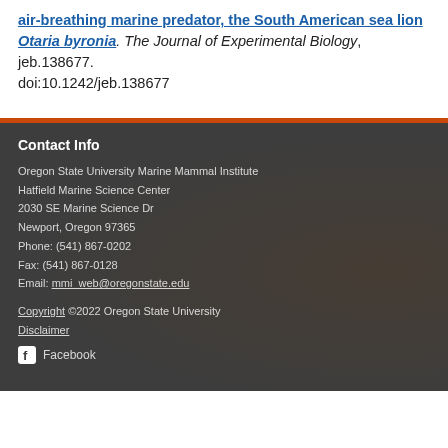air-breathing marine predator, the South American sea lion Otaria byronia. The Journal of Experimental Biology, jeb.138677. doi:10.1242/jeb.138677
Contact Info
Oregon State University Marine Mammal Institute
Hatfield Marine Science Center
2030 SE Marine Science Dr
Newport, Oregon 97365
Phone: (541) 867-0202
Fax: (541) 867-0128
Email: mmi_web@oregonstate.edu
Copyright ©2022 Oregon State University
Disclaimer
Facebook